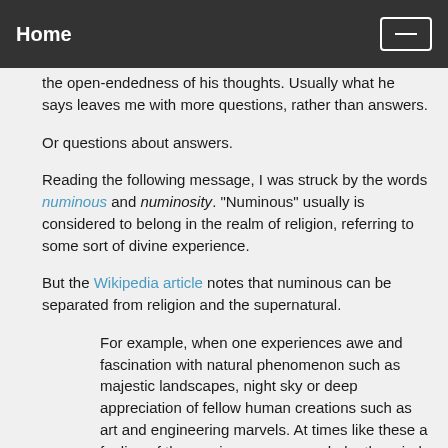Home
the open-endedness of his thoughts. Usually what he says leaves me with more questions, rather than answers.
Or questions about answers.
Reading the following message, I was struck by the words numinous and numinosity. "Numinous" usually is considered to belong in the realm of religion, referring to some sort of divine experience.
But the Wikipedia article notes that numinous can be separated from religion and the supernatural.
For example, when one experiences awe and fascination with natural phenomenon such as majestic landscapes, night sky or deep appreciation of fellow human creations such as art and engineering marvels. At times like these a feeling of the numinous can overwhelm the mind and body, yet in no way is this interpreted to be supernatural or of divine origin. The very fact that one feels inspired by